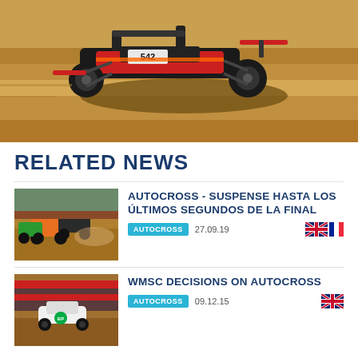[Figure (photo): Racing buggy/open-wheel dirt car racing on a dirt track, motion blur on the orange/brown dirt surface]
RELATED NEWS
[Figure (photo): Multiple autocross buggies racing on a dirt track]
AUTOCROSS - SUSPENSE HASTA LOS ÚLTIMOS SEGUNDOS DE LA FINAL
AUTOCROSS  27.09.19
[Figure (photo): Single autocross car on a dirt track with red barrier in background]
WMSC DECISIONS ON AUTOCROSS
AUTOCROSS  09.12.15